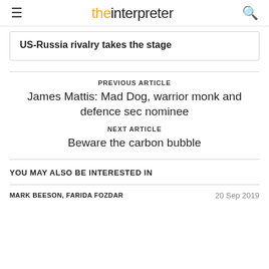≡ theinterpreter 🔍
US-Russia rivalry takes the stage
PREVIOUS ARTICLE
James Mattis: Mad Dog, warrior monk and defence sec nominee
NEXT ARTICLE
Beware the carbon bubble
YOU MAY ALSO BE INTERESTED IN
MARK BEESON, FARIDA FOZDAR   20 Sep 2019